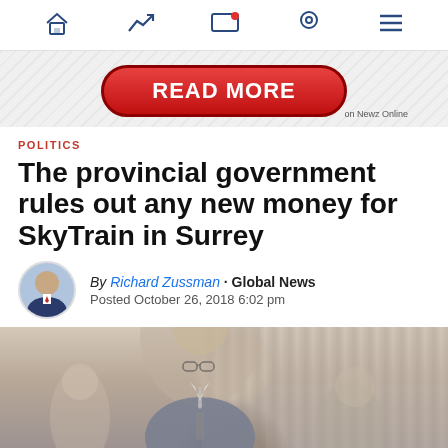Navigation bar with home, trending, video, location, and menu icons
[Figure (infographic): Red 'READ MORE' button on hatched grey background with text 'on Newz Online']
POLITICS
The provincial government rules out any new money for SkyTrain in Surrey
By Richard Zussman · Global News
Posted October 26, 2018 6:02 pm
[Figure (photo): Photo of a man speaking at a podium, wearing glasses, in front of a curtained background with other people visible]